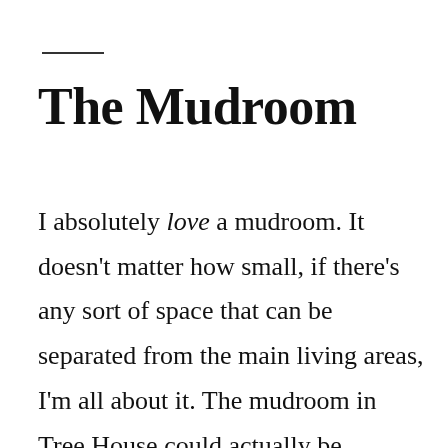The Mudroom
I absolutely love a mudroom. It doesn't matter how small, if there's any sort of space that can be separated from the main living areas, I'm all about it. The mudroom in Tree House could actually be considered on the large side, and there's about to be so much function packed into this 8′ x 9′ room! Hooks and benches and mirrors and laundry and